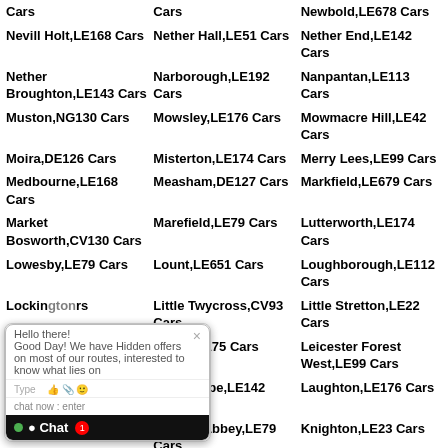Cars | Cars | Newbold,LE678 Cars
Nevill Holt,LE168 Cars | Nether Hall,LE51 Cars | Nether End,LE142 Cars
Nether Broughton,LE143 Cars | Narborough,LE192 Cars | Nanpantan,LE113 Cars
Muston,NG130 Cars | Mowsley,LE176 Cars | Mowmacre Hill,LE42 Cars
Moira,DE126 Cars | Misterton,LE174 Cars | Merry Lees,LE99 Cars
Medbourne,LE168 Cars | Measham,DE127 Cars | Markfield,LE679 Cars
Market Bosworth,CV130 Cars | Marefield,LE79 Cars | Lutterworth,LE174 Cars
Lowesby,LE79 Cars | Lount,LE651 Cars | Loughborough,LE112 Cars
Lockington,... Cars | Little Twycross,CV93 Cars | Little Stretton,LE22 Cars
Little ...,... Cars | Leire,LE175 Cars | Leicester Forest West,LE99 Cars
Leicester East,LE... | Leesthorpe,LE142 Cars | Laughton,LE176 Cars
K...,LE5321 Cars | Launde Abbey,LE79 Cars | Knighton,LE23 Cars
[Figure (screenshot): Live chat widget popup with message: Hello there! Good Day! We have Hidden offers on most of our routes, interested to know what lies on... Type input area with emoji/attachment icons. Chat header in black with green dot and red badge showing 1.]